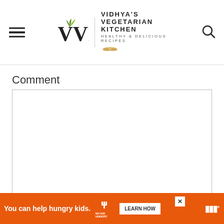Vidhya's Vegetarian Kitchen — Healthy & Delicious Recipes
Comment
[Comment text area — empty input field]
Name *
[Figure (infographic): Advertisement banner: orange background, 'You can help hungry kids.' text, No Kid Hungry logo, 'LEARN HOW' button, close X button, and a small icon on the right.]